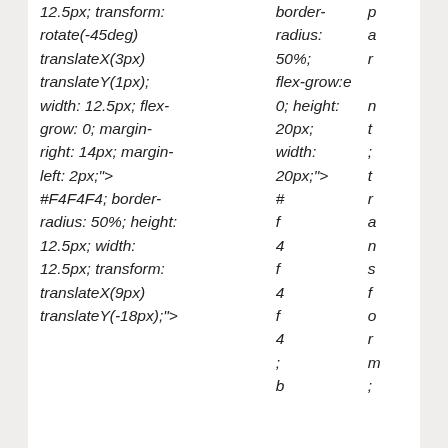| 12.5px; transform: | border- | p |
| rotate(-45deg) | radius: | a |
| translateX(3px) | 50%; | r |
| translateY(1px); | flex-grow:e |  |
| width: 12.5px; flex- | 0; height: | n |
| grow: 0; margin- | 20px; | t |
| right: 14px; margin- | width: | ; |
| left: 2px;"> | 20px;"> | t |
| #F4F4F4; border- | # | r |
| radius: 50%; height: | f | a |
| 12.5px; width: | 4 | n |
| 12.5px; transform: | f | s |
| translateX(9px) | 4 | f |
| translateY(-18px);"> | f | o |
|  | 4 | r |
|  | ; | m |
|  | b | ; |